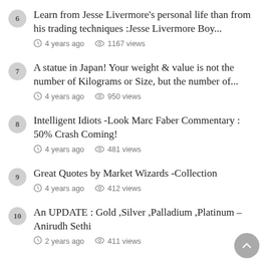6. Learn from Jesse Livermore's personal life than from his trading techniques :Jesse Livermore Boy... — 4 years ago · 1167 views
7. A statue in Japan! Your weight & value is not the number of Kilograms or Size, but the number of... — 4 years ago · 950 views
8. Intelligent Idiots -Look Marc Faber Commentary : 50% Crash Coming! — 4 years ago · 481 views
9. Great Quotes by Market Wizards -Collection — 4 years ago · 412 views
10. An UPDATE : Gold ,Silver ,Palladium ,Platinum – Anirudh Sethi — 2 years ago · 411 views